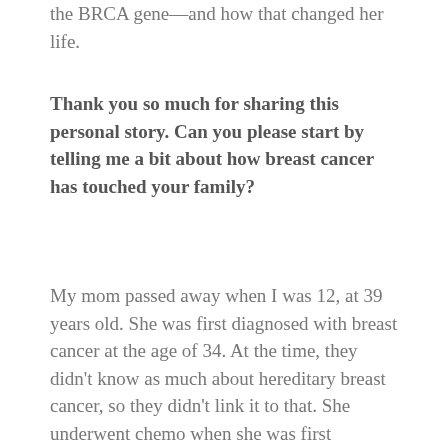the BRCA gene—and how that changed her life.
Thank you so much for sharing this personal story. Can you please start by telling me a bit about how breast cancer has touched your family?
My mom passed away when I was 12, at 39 years old. She was first diagnosed with breast cancer at the age of 34. At the time, they didn't know as much about hereditary breast cancer, so they didn't link it to that. She underwent chemo when she was first diagnosed. We thought she beat it but it came back with a vengeance five years later. By the time they found it, it had mestastazied and it was unfortunately too late. Again, I was 12 and my